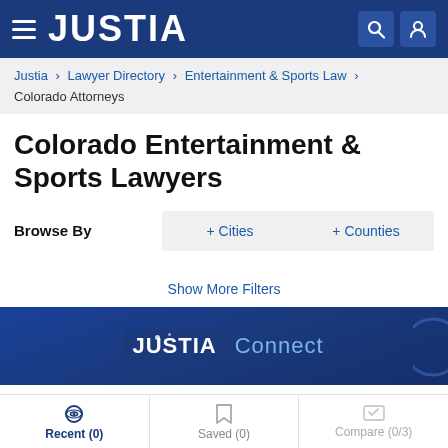JUSTIA
Justia > Lawyer Directory > Entertainment & Sports Law > Colorado Attorneys
Colorado Entertainment & Sports Lawyers
Browse By  + Cities  + Counties
Show More Filters
[Figure (screenshot): Justia Connect promotional banner with dark blue background]
Recent (0)   Saved (0)   Compare (0/3)